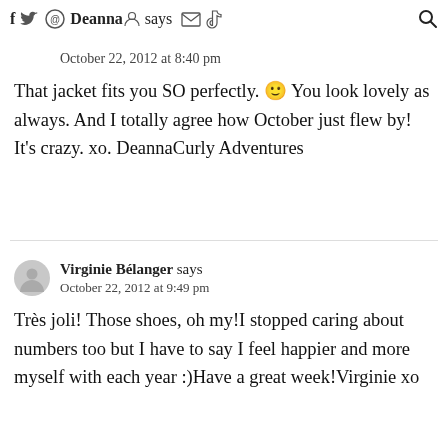f [twitter icon] [circle icon] Deanna says [envelope icon] [tiktok icon] [search icon]
October 22, 2012 at 8:40 pm
That jacket fits you SO perfectly. 🙂 You look lovely as always. And I totally agree how October just flew by! It's crazy. xo. DeannaCurly Adventures
Virginie Bélanger says
October 22, 2012 at 9:49 pm
Très joli! Those shoes, oh my!I stopped caring about numbers too but I have to say I feel happier and more myself with each year :)Have a great week!Virginie xo